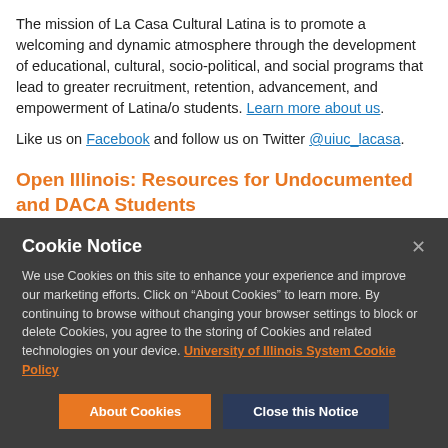The mission of La Casa Cultural Latina is to promote a welcoming and dynamic atmosphere through the development of educational, cultural, socio-political, and social programs that lead to greater recruitment, retention, advancement, and empowerment of Latina/o students. Learn more about us.
Like us on Facebook and follow us on Twitter @uiuc_lacasa.
Open Illinois: Resources for Undocumented and DACA Students
Cookie Notice
We use Cookies on this site to enhance your experience and improve our marketing efforts. Click on "About Cookies" to learn more. By continuing to browse without changing your browser settings to block or delete Cookies, you agree to the storing of Cookies and related technologies on your device. University of Illinois System Cookie Policy